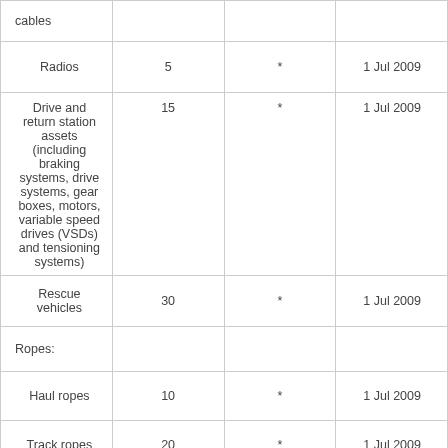| Item | Value | * | Date |
| --- | --- | --- | --- |
| cables |  |  |  |
| Radios | 5 | * | 1 Jul 200… |
| Drive and return station assets (including braking systems, drive systems, gear boxes, motors, variable speed drives (VSDs) and tensioning systems) | 15 | * | 1 Jul 200… |
| Rescue vehicles | 30 | * | 1 Jul 200… |
| Ropes: |  |  |  |
| Haul ropes | 10 | * | 1 Jul 200… |
| Track ropes | 20 | * | 1 Jul 200… |
| Standby power drives | 25 | * | 1 Jul 200… |
| Towers: |  |  |  |
|  |  |  |  |